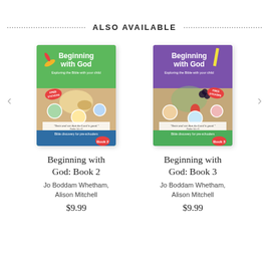ALSO AVAILABLE
[Figure (illustration): Book cover for Beginning with God: Book 2, green background with school supplies and food items, 'FREE STICKERS' badge]
Beginning with God: Book 2
Jo Boddam Whetham, Alison Mitchell
$9.99
[Figure (illustration): Book cover for Beginning with God: Book 3, purple background with vegetables and fruit items, 'FREE STICKERS' badge]
Beginning with God: Book 3
Jo Boddam Whetham, Alison Mitchell
$9.99